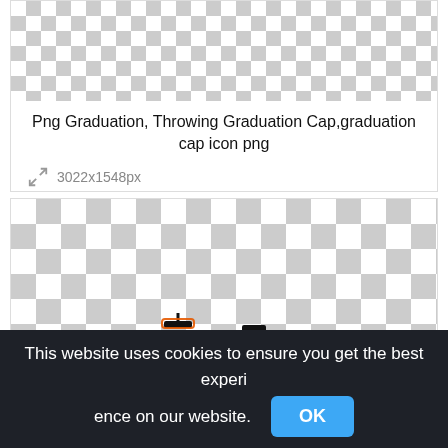[Figure (screenshot): Checkerboard transparency pattern preview area at the top of an image listing card]
Png Graduation, Throwing Graduation Cap,graduation cap icon png
3022x1548px
[Figure (illustration): Checkerboard transparency background with a silhouette of a graduation figure throwing a cap, outlined in orange]
This website uses cookies to ensure you get the best experience on our website.